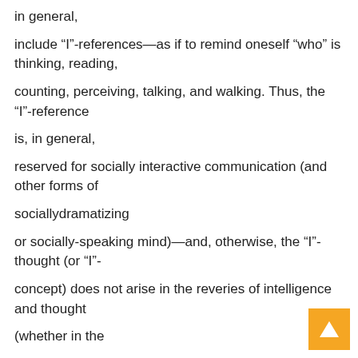in general,
include “I”-references—as if to remind oneself “who” is thinking, reading,
counting, perceiving, talking, and walking. Thus, the “I”-reference
is, in general,
reserved for socially interactive communication (and other forms of
sociallydramatizing
or socially-speaking mind)—and, otherwise, the “I”-thought (or “I”-
concept) does not arise in the reveries of intelligence and thought
(whether in the
waking state or in the dreaming state).